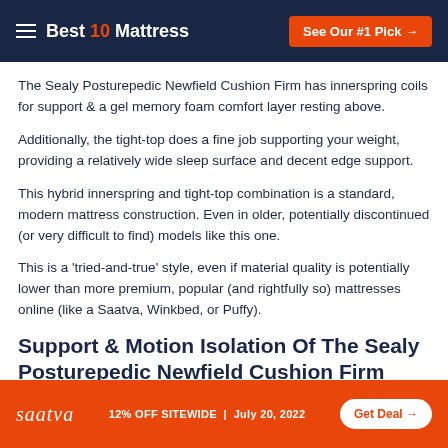Best 10 Mattress | See Our #1 Pick →
The Sealy Posturepedic Newfield Cushion Firm has innerspring coils for support & a gel memory foam comfort layer resting above.
Additionally, the tight-top does a fine job supporting your weight, providing a relatively wide sleep surface and decent edge support.
This hybrid innerspring and tight-top combination is a standard, modern mattress construction. Even in older, potentially discontinued (or very difficult to find) models like this one.
This is a 'tried-and-true' style, even if material quality is potentially lower than more premium, popular (and rightfully so) mattresses online (like a Saatva, Winkbed, or Puffy).
Support & Motion Isolation Of The Sealy Posturepedic Newfield Cushion Firm
saatva 12% OFF SITEWIDE | July 20, 2022 Get Deal →